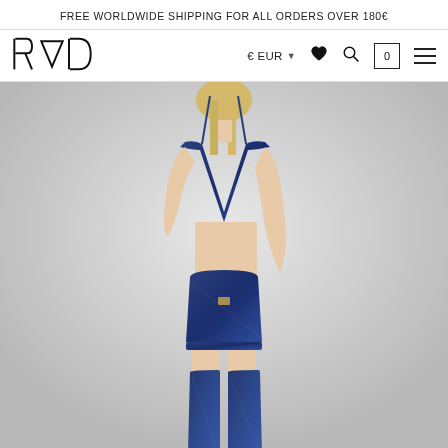FREE WORLDWIDE SHIPPING FOR ALL ORDERS OVER 180€
RAD | € EUR | (wishlist) | (search) | (cart 0) | (menu)
[Figure (photo): A blonde female model wearing a blue velvet/crushed fabric set consisting of a triangle bralette top, high-waisted shorts/bottoms, and matching thigh-high leg warmers/socks, posed against a light grey background.]